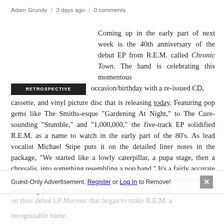Adam Grundy / 3 days ago / 0 comments
Coming up in the early part of next week is the 40th anniversary of the debut EP from R.E.M. called Chronic Town. The band is celebrating this momentous occasion/birthday with a re-issued CD, cassette, and vinyl picture disc that is releasing today. Featuring pop gems like The Smiths-esque “Gardening At Night,” to The Cure-sounding “Stumble,” and “1,000,000,” the five-track EP solidified R.E.M. as a name to watch in the early part of the 80’s. As lead vocalist Michael Stipe puts it on the detailed liner notes in the package, “We started like a lowly caterpillar, a pupa stage, then a chrysalis, into something resembling a pop band.” It’s a fairly accurate depiction of the sound that comes shining through the speakers on this endearing debut EP. You can
definitely hear traces of where the band would take their sound on their debut LP Murmur that began to make R.E.M. a recognizable name.
Guest-Only Advertisement. Register or Log In to Remove!